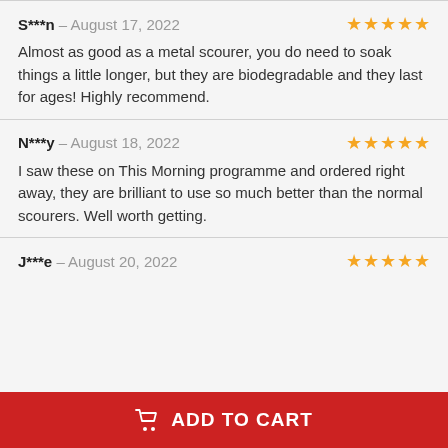S***n – August 17, 2022 ★★★★★
Almost as good as a metal scourer, you do need to soak things a little longer, but they are biodegradable and they last for ages! Highly recommend.
N***y – August 18, 2022 ★★★★★
I saw these on This Morning programme and ordered right away, they are brilliant to use so much better than the normal scourers. Well worth getting.
J***e – August 20, 2022 ★★★★★
ADD TO CART